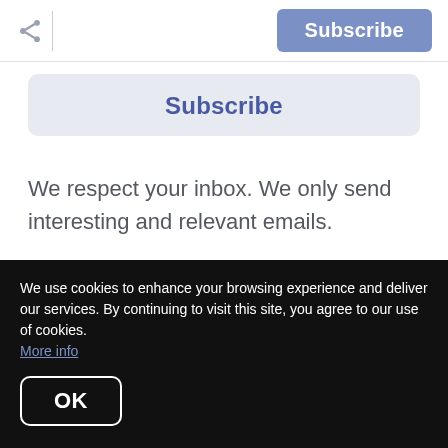Subscribe
Subscribe
We respect your inbox. We only send interesting and relevant emails.
© 2022 Century 21 Cornerstone Realty | 530-268-2250 |
We use cookies to enhance your browsing experience and deliver our services. By continuing to visit this site, you agree to our use of cookies. More info
OK